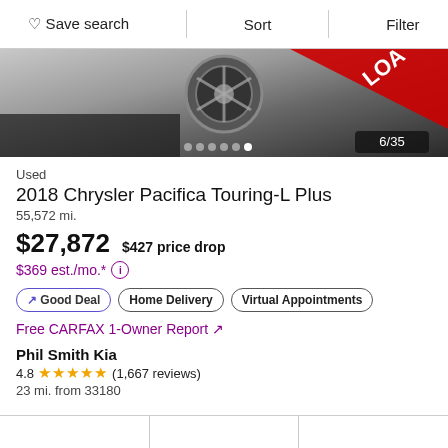Save search  Sort  Filter
[Figure (photo): Partial car photo showing a wheel and a red diagonal LOADED banner, image counter 6/35]
Used
2018 Chrysler Pacifica Touring-L Plus
55,572 mi.
$27,872  $427 price drop
$369 est./mo.* (i)
↗ Good Deal  Home Delivery  Virtual Appointments
Free CARFAX 1-Owner Report ↗
Phil Smith Kia
4.8 ★★★★★ (1,667 reviews)
23 mi. from 33180